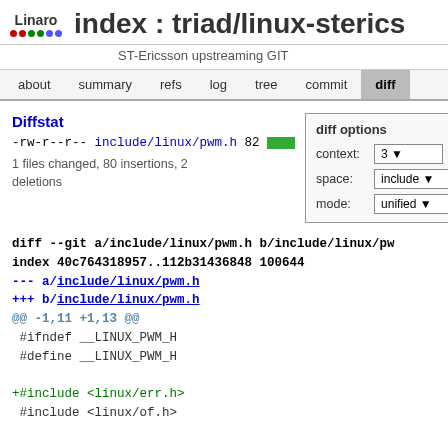index : triad/linux-sterics
ST-Ericsson upstreaming GIT
about  summary  refs  log  tree  commit  diff
Diffstat
-rw-r--r-- include/linux/pwm.h 82
1 files changed, 80 insertions, 2 deletions
diff options
context: 3
space: include
mode: unified
diff --git a/include/linux/pwm.h b/include/linux/pw
index 40c764318957..112b31436848 100644
--- a/include/linux/pwm.h
+++ b/include/linux/pwm.h
@@ -1,11 +1,13 @@
 #ifndef __LINUX_PWM_H
 #define __LINUX_PWM_H

+#include <linux/err.h>
 #include <linux/of.h>